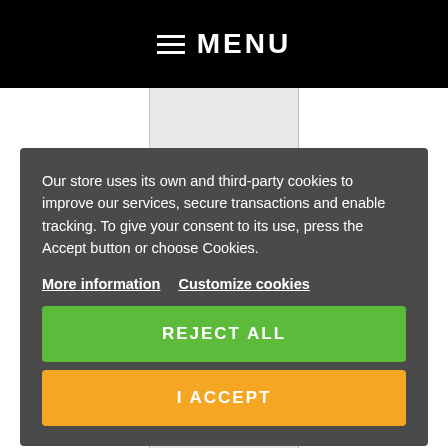≡ MENU
CAR ANTENNA 144-430MHZ AZ610 DIAMOND SLIM GAINER
High quality screw whip antenna AZ610 Diamond Slim Gainer
Our store uses its own and third-party cookies to improve our services, secure transactions and enable tracking. To give your consent to its use, press the Accept button or choose Cookies.
More information  Customize cookies
REJECT ALL
I ACCEPT